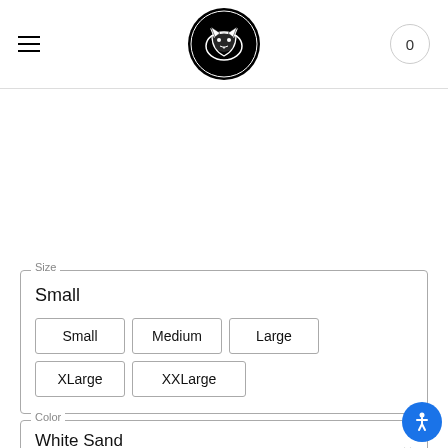[Figure (logo): Circular black logo with a stylized fox/animal illustration in white]
0
Size
Small
Small
Medium
Large
XLarge
XXLarge
Color
White Sand